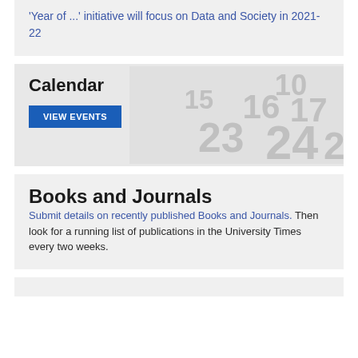'Year of ...' initiative will focus on Data and Society in 2021-22
[Figure (illustration): Calendar section with background image showing calendar dates 10, 15, 16, 17, 23, 24, 25]
Calendar
VIEW EVENTS
Books and Journals
Submit details on recently published Books and Journals. Then look for a running list of publications in the University Times every two weeks.